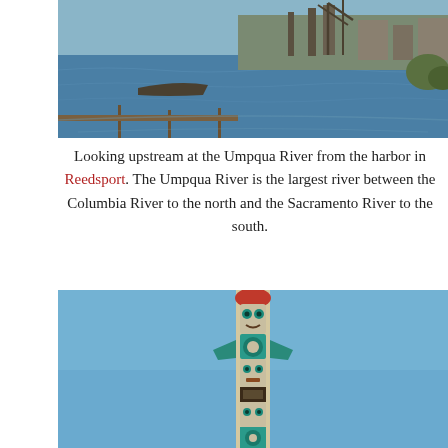[Figure (photo): Aerial/ground view looking upstream at the Umpqua River from the harbor in Reedsport, showing industrial docks, cranes, boats, and calm water in the foreground.]
Looking upstream at the Umpqua River from the harbor in Reedsport. The Umpqua River is the largest river between the Columbia River to the north and the Sacramento River to the south.
[Figure (photo): A tall totem pole with colorful carved figures against a clear blue sky.]